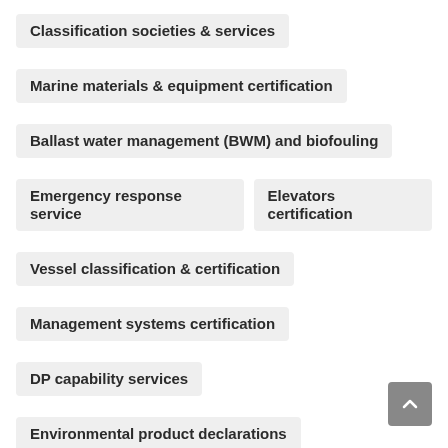Classification societies & services
Marine materials & equipment certification
Ballast water management (BWM) and biofouling
Emergency response service
Elevators certification
Vessel classification & certification
Management systems certification
DP capability services
Environmental product declarations